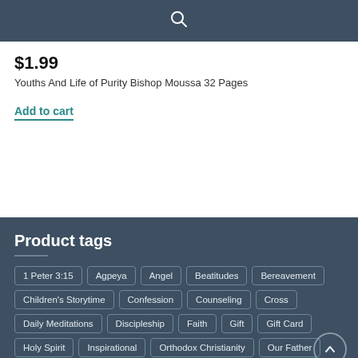🔍
$1.99
Youths And Life of Purity Bishop Moussa 32 Pages
Add to cart
Product tags
1 Peter 3:15
Agpeya
Angel
Beatitudes
Bereavement
Children's Storytime
Confession
Counseling
Cross
Daily Meditations
Discipleship
Faith
Gift
Gift Card
Holy Spirit
Inspirational
Orthodox Christianity
Our Father
Parenting
Passion of Christ
Personalized